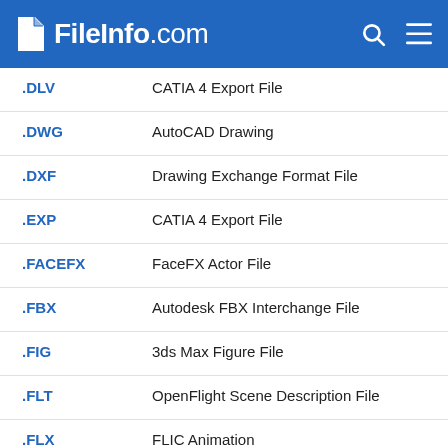FileInfo.com
.DLV — CATIA 4 Export File
.DWG — AutoCAD Drawing
.DXF — Drawing Exchange Format File
.EXP — CATIA 4 Export File
.FACEFX — FaceFX Actor File
.FBX — Autodesk FBX Interchange File
.FIG — 3ds Max Figure File
.FLT — OpenFlight Scene Description File
.FLX — FLIC Animation
.FXA — OC3 Entertainment FaceFX Actor File